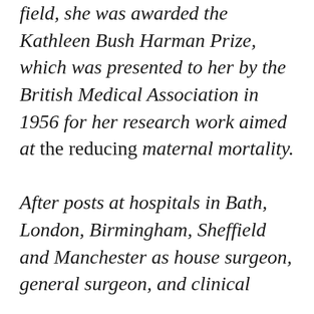field, she was awarded the Kathleen Bush Harman Prize, which was presented to her by the British Medical Association in 1956 for her research work aimed at the reducing maternal mortality.

After posts at hospitals in Bath, London, Birmingham, Sheffield and Manchester as house surgeon, general surgeon, and clinical